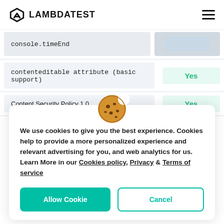LAMBDATEST
| Feature | Status |
| --- | --- |
| console.timeEnd |  |
| contenteditable attribute (basic support) | Yes |
| Content Security Policy 1.0 | Yes |
[Figure (illustration): Cookie emoji illustration]
We use cookies to give you the best experience. Cookies help to provide a more personalized experience and relevant advertising for you, and web analytics for us. Learn More in our Cookies policy, Privacy & Terms of service
Allow Cookie | Cancel